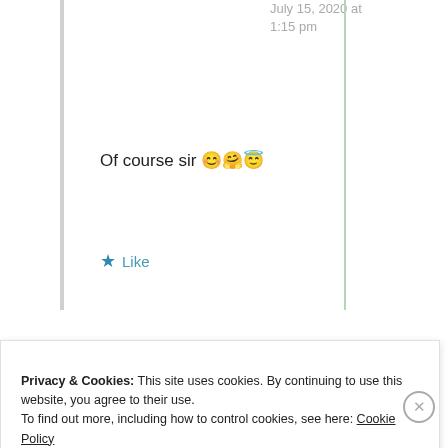July 15, 2020 at 1:15 pm
Of course sir 😊🤗😇
★ Like
Advertisements
Professionally designed sites
Ava Tripathy
Privacy & Cookies: This site uses cookies. By continuing to use this website, you agree to their use. To find out more, including how to control cookies, see here: Cookie Policy
Close and accept